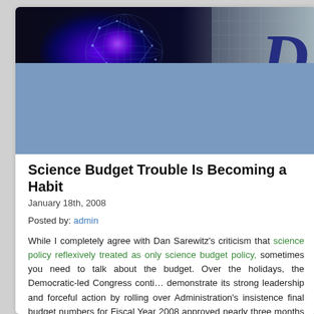[Figure (illustration): Website header banner with blue glowing digital globe/sphere on the left and a large italic letter D on the right against a gray gradient background]
Science Budget Trouble Is Becoming a Habit
January 18th, 2008
Posted by: admin
While I completely agree with Dan Sarewitz's criticism that science policy is reflexively treated as only science budget policy, sometimes you need to talk about the budget. Over the holidays, the Democratic-led Congress continued to demonstrate its strong leadership and forceful action by rolling over the Administration's insistence final budget numbers for Fiscal Year 2008 (not approved nearly three months into the year). While of a kind with other failures of Congressional leadership, the casualties of this compromise include the a